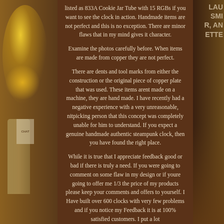listed as 833A Cookie Jar Tube with 15 RGBs if you want to see the clock in action. Handmade items are not perfect and this is no exception. There are minor flaws that in my mind gives it character.
Examine the photos carefully before. When items are made from copper they are not perfect.
There are dents and tool marks from either the construction or the original piece of copper plate that was used. These items arent made on a machine, they are hand made. I have recently had a negative experience with a very unreasonable, nitpicking person that this concept was completely unable for him to understand. If you expect a genuine handmade authentic steampunk clock, then you have found the right place.
While it is true that I appreciate feedback good or bad if there is truly a need. If you were going to comment on some flaw in my design or if youre going to offer me 1/3 the price of my products please keep your comments and offers to yourself. I Have built over 600 clocks with very few problems and if you notice my Feedback it is at 100% satisfied customers. I put a lot